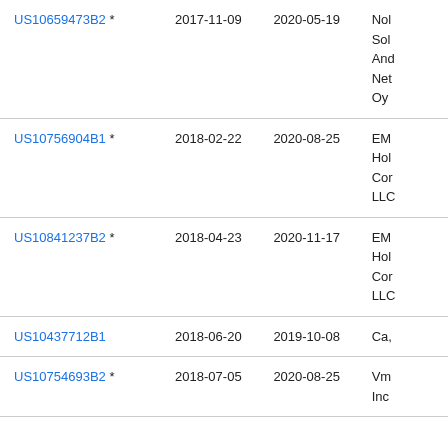| US10659473B2 * | 2017-11-09 | 2020-05-19 | Nol Sol And Net Oy |
| US10756904B1 * | 2018-02-22 | 2020-08-25 | EM Hol Cor LLC |
| US10841237B2 * | 2018-04-23 | 2020-11-17 | EM Hol Cor LLC |
| US10437712B1 | 2018-06-20 | 2019-10-08 | Ca, |
| US10754693B2 * | 2018-07-05 | 2020-08-25 | Vm Inc |